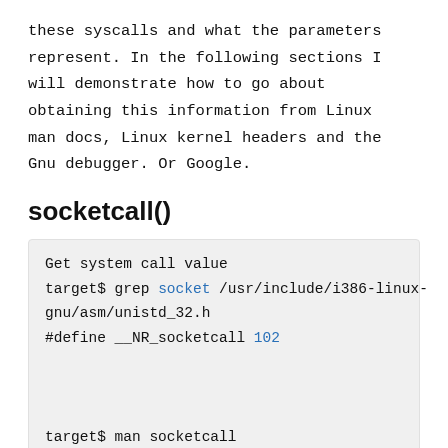these syscalls and what the parameters represent. In the following sections I will demonstrate how to go about obtaining this information from Linux man docs, Linux kernel headers and the Gnu debugger. Or Google.
socketcall()
Get system call value
target$ grep socket /usr/include/i386-linux-gnu/asm/unistd_32.h
#define __NR_socketcall 102


target$ man socketcall